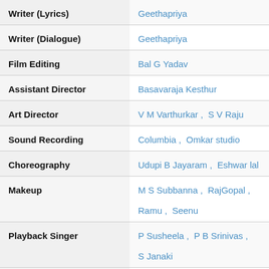| Role | Person/Studio |
| --- | --- |
| Writer (Lyrics) | Geethapriya |
| Writer (Dialogue) | Geethapriya |
| Film Editing | Bal G Yadav |
| Assistant Director | Basavaraja Kesthur |
| Art Director | V M Varthurkar ,  S V Raju |
| Sound Recording | Columbia ,  Omkar studio |
| Choreography | Udupi B Jayaram ,  Eshwar lal |
| Makeup | M S Subbanna ,  RajGopal ,  Ramu ,  Seenu |
| Playback Singer | P Susheela ,  P B Srinivas ,  S Janaki |
| Cinematography |  |